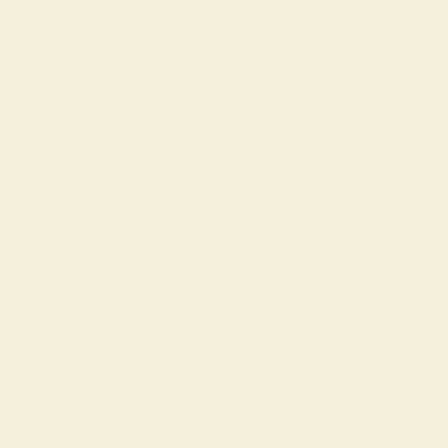And venge the shame,
Therefore Sir Terpin
This squalid weede,
And wend with me,
How Fortune will yo
And knights of Maid
empaire.
With that, like one th
From deathes dore, a
Those yron fetters, w
The badges of reproc
And nimbly did him
Vnto the dwelling of
Which was from ther
A goodly citty and a
The which of her ow
Where they arriuing,
Descried streight; wh
How that three warli
Of which the one hin
And th'other two wel
Eftsoones the people
And like a sort of Be
Ere long their Queen